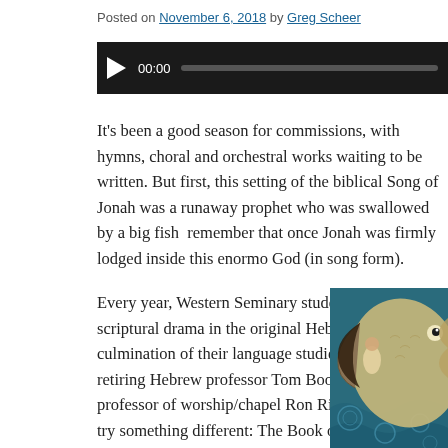Posted on November 6, 2018 by Greg Scheer
[Figure (screenshot): Audio player bar with play button, time display 00:00, and progress bar on dark background]
It’s been a good season for commissions, with hymns, choral and orchestral works waiting to be written. But first, this setting of the biblical Song of Jonah was a runaway prophet who was swallowed by a big fish remember that once Jonah was firmly lodged inside this enormous God (in song form).
Every year, Western Seminary students perform a scriptural drama in the original Hebrew as the culmination of their language studies. This year, retiring Hebrew professor Tom Boogaart and professor of worship/chapel Ron Rienstra decided to try something different: The Book of Jonah in a new English translation and with a new musical rendition of the Prayer of Jonah, composed by yours truly.
[Figure (illustration): Artistic illustration of Jonah inside a large fish, rendered in swirling blue and teal tones with decorative patterns]